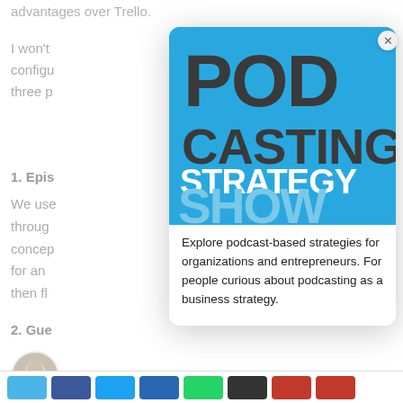advantages over Trello.
I won't config three p
1. Epis
We use throug concep for an then fl
[Figure (logo): Podcasting Strategy Show logo — blue square background with large bold dark grey text reading 'POD CASTING' and white bold text 'STRATEGY' and light blue large text 'SHOW']
Explore podcast-based strategies for organizations and entrepreneurs. For people curious about podcasting as a business strategy.
2. Gue
[Figure (photo): Circular avatar photo of a man with short hair outdoors]